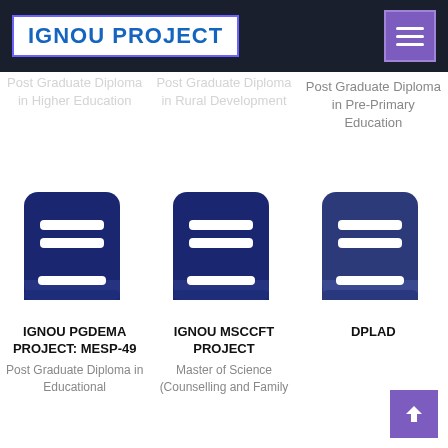IGNOU PROJECT
Post Graduate Diploma in Higher Education
Post Graduate Diploma in Rural Development
Post Graduate Diploma in Pre-Primary Education
[Figure (illustration): Book icon - dark navy blue stylized book with two white horizontal lines on cover]
[Figure (illustration): Book icon - dark navy blue stylized book with two white horizontal lines on cover]
[Figure (illustration): Book icon - dark navy blue stylized book with two white horizontal lines on cover]
IGNOU PGDEMA PROJECT: MESP-49
Post Graduate Diploma in Educational
IGNOU MSCCFT PROJECT
Master of Science (Counselling and Family
DPLAD